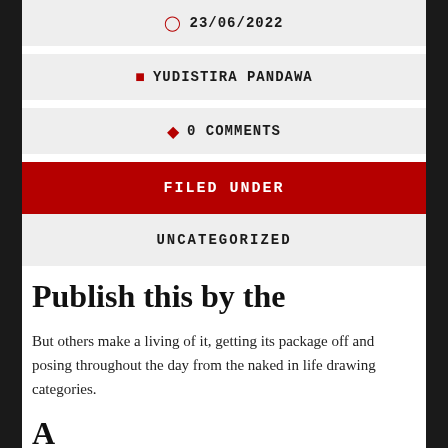23/06/2022
YUDISTIRA PANDAWA
0 COMMENTS
FILED UNDER
UNCATEGORIZED
Publish this by the
But others make a living of it, getting its package off and posing throughout the day from the naked in life drawing categories.
A...